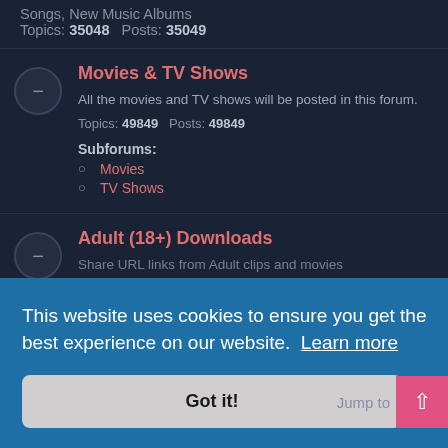Topics: 35048  Posts: 35049
Movies & TV Shows
All the movies and TV shows will be posted in this forum.
Topics: 49849  Posts: 49849
Subforums:
Movies
TV Shows
Adult (18+) Downloads
Share URL links from Adult clips and movies
This website uses cookies to ensure you get the best experience on our website. Learn more
Got it!
Jump to